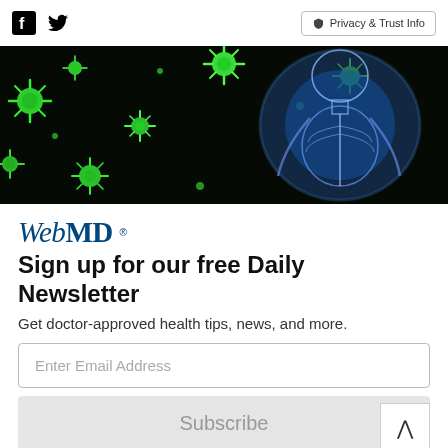[Figure (screenshot): WebMD newsletter signup page with top bar showing Facebook and Twitter social icons and Privacy & Trust Info button, hero image of glowing human skeleton with green virus particles on black background, WebMD logo, newsletter title, email input, subscribe button, and disclaimer text]
Privacy & Trust Info
WebMD
Sign up for our free Daily Newsletter
Get doctor-approved health tips, news, and more.
Enter Email Address
Subscribe
By clicking Subscribe, I agree to the WebMD Terms & Conditions & Privacy Policy and understand that I may opt out of WebMD subscriptions at any time.
ADVERTISEMENT